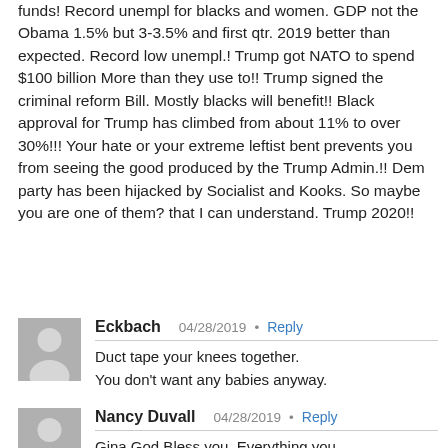funds! Record unempl for blacks and women. GDP not the Obama 1.5% but 3-3.5% and first qtr. 2019 better than expected. Record low unempl.! Trump got NATO to spend $100 billion More than they use to!! Trump signed the criminal reform Bill. Mostly blacks will benefit!! Black approval for Trump has climbed from about 11% to over 30%!!! Your hate or your extreme leftist bent prevents you from seeing the good produced by the Trump Admin.!! Dem party has been hijacked by Socialist and Kooks. So maybe you are one of them? that I can understand. Trump 2020!!
Eckbach  04/28/2019 • Reply
Duct tape your knees together.
You don't want any babies anyway.
Nancy Duvall  04/28/2019 • Reply
Gina God Bless you. Everything you